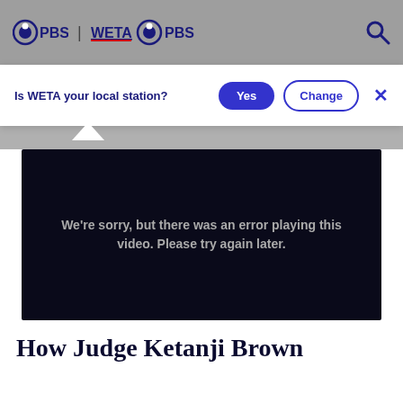PBS | WETA PBS
Is WETA your local station? Yes Change
[Figure (screenshot): Video player showing error message: We're sorry, but there was an error playing this video. Please try again later.]
How Judge Ketanji Brown